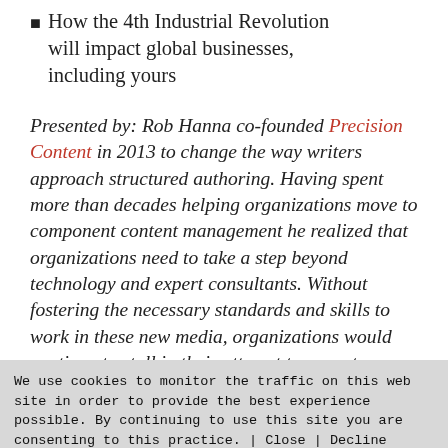How the 4th Industrial Revolution will impact global businesses, including yours
Presented by: Rob Hanna co-founded Precision Content in 2013 to change the way writers approach structured authoring. Having spent more than decades helping organizations move to component content management he realized that organizations need to take a step beyond technology and expert consultants. Without fostering the necessary standards and skills to work in these new media, organizations would continue to stall in their attempt to move to structured authoring. With
We use cookies to monitor the traffic on this web site in order to provide the best experience possible. By continuing to use this site you are consenting to this practice. | Close | Decline